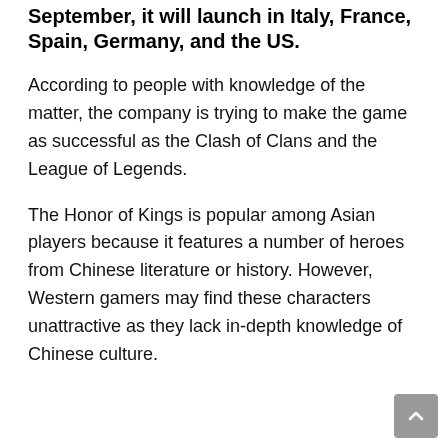September, it will launch in Italy, France, Spain, Germany, and the US.
According to people with knowledge of the matter, the company is trying to make the game as successful as the Clash of Clans and the League of Legends.
The Honor of Kings is popular among Asian players because it features a number of heroes from Chinese literature or history. However, Western gamers may find these characters unattractive as they lack in-depth knowledge of Chinese culture.